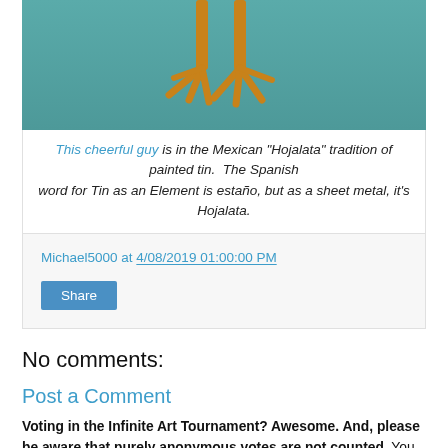[Figure (photo): Cropped photo showing bird feet/legs against a teal/blue-green textured background]
This cheerful guy is in the Mexican "Hojalata" tradition of painted tin. The Spanish word for Tin as an Element is estaño, but as a sheet metal, it's Hojalata.
Michael5000 at 4/08/2019 01:00:00 PM
Share
No comments:
Post a Comment
Voting in the Infinite Art Tournament? Awesome. And, please be aware that purely anonymous votes are not counted. You don't need to log in or use your real name, but you must identify yourself in some fashion for your vote to count.